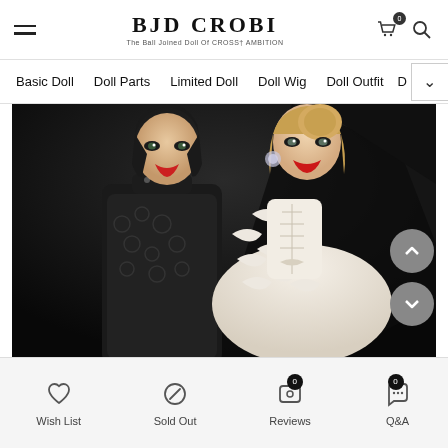BJD CROBI — The Ball Jointed Doll Of CROSS†AMBITION
Basic Doll | Doll Parts | Limited Doll | Doll Wig | Doll Outfit | D
[Figure (photo): Two BJD (Ball Jointed Dolls) posing together. One wears a black lace outfit and the other wears an elaborate white feathered/lace gown. Both have detailed face-up (makeup) with red lips. Dark dramatic background.]
Wish List
Sold Out
Reviews 0
Q&A 0